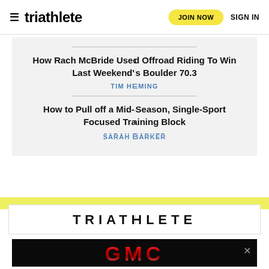triathlete | JOIN NOW | SIGN IN
How Rach McBride Used Offroad Riding To Win Last Weekend's Boulder 70.3
TIM HEMING
How to Pull off a Mid-Season, Single-Sport Focused Training Block
SARAH BARKER
[Figure (other): GMC advertisement banner with red stylized GMC logo text on black background]
TRIATHLETE